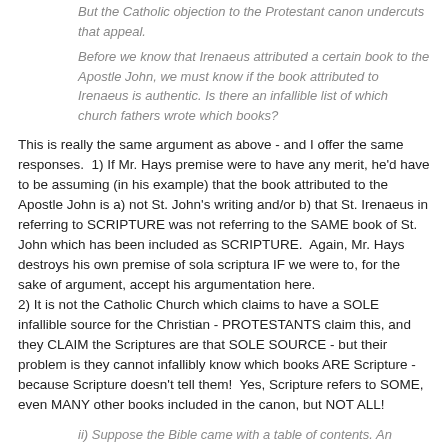But the Catholic objection to the Protestant canon undercuts that appeal.
Before we know that Irenaeus attributed a certain book to the Apostle John, we must know if the book attributed to Irenaeus is authentic. Is there an infallible list of which church fathers wrote which books?
This is really the same argument as above - and I offer the same responses.  1) If Mr. Hays premise were to have any merit, he'd have to be assuming (in his example) that the book attributed to the Apostle John is a) not St. John's writing and/or b) that St. Irenaeus in referring to SCRIPTURE was not referring to the SAME book of St. John which has been included as SCRIPTURE.  Again, Mr. Hays destroys his own premise of sola scriptura IF we were to, for the sake of argument, accept his argumentation here.
2) It is not the Catholic Church which claims to have a SOLE infallible source for the Christian - PROTESTANTS claim this, and they CLAIM the Scriptures are that SOLE SOURCE - but their problem is they cannot infallibly know which books ARE Scripture - because Scripture doesn't tell them!  Yes, Scripture refers to SOME, even MANY other books included in the canon, but NOT ALL!
ii) Suppose the Bible came with a table of contents. An infallible list of the books comprising the Bible. How would a Catholic apologist respond? Would he withdraw his objection? I doubt it.